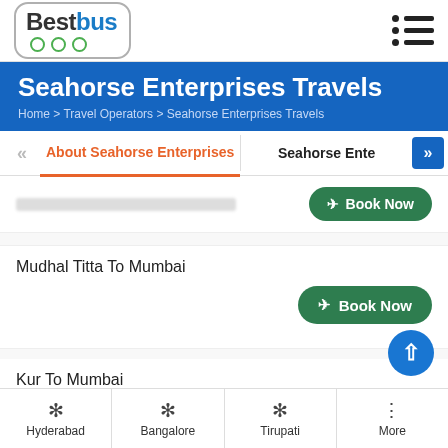BestBus
Seahorse Enterprises Travels
Home > Travel Operators > Seahorse Enterprises Travels
About Seahorse Enterprises | Seahorse Ente
Mudhal Titta To Mumbai
Kur To Mumbai
Hyderabad | Bangalore | Tirupati | More